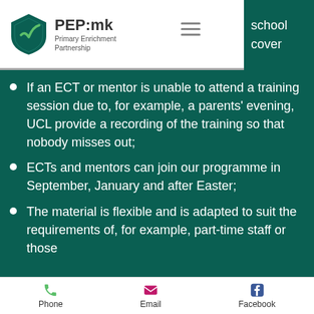PEP:mk Primary Enrichment Partnership | school cover
If an ECT or mentor is unable to attend a training session due to, for example, a parents' evening, UCL provide a recording of the training so that nobody misses out;
ECTs and mentors can join our programme in September, January and after Easter;
The material is flexible and is adapted to suit the requirements of, for example, part-time staff or those
Phone | Email | Facebook